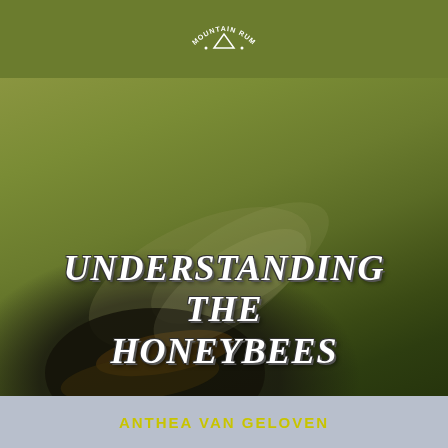[Figure (logo): Mountain Run publisher logo in arched text at top of book cover]
[Figure (photo): Close-up blurred photograph of a honeybee on a surface, olive-green and dark background tones]
UNDERSTANDING THE HONEYBEES
ANTHEA VAN GELOVEN